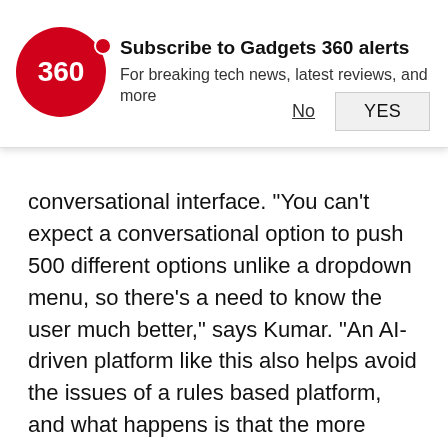[Figure (other): Gadgets 360 subscription notification popup with red circular logo showing '360', bold title 'Subscribe to Gadgets 360 alerts', subtitle 'For breaking tech news, latest reviews, and more', and two buttons: 'No' (underlined) and 'YES' (in a grey box).]
conversational interface. "You can't expect a conversational option to push 500 different options unlike a dropdown menu, so there's a need to know the user much better," says Kumar. "An AI-driven platform like this also helps avoid the issues of a rules based platform, and what happens is that the more people use Tara, the better she will understand them, and the more personalised she would become."
In a demo, Tara is quippy and helpful, asking about holiday preferences and making booking suggestions. The assistant knows what your frequent flier details are and asks which dates work best for you, before